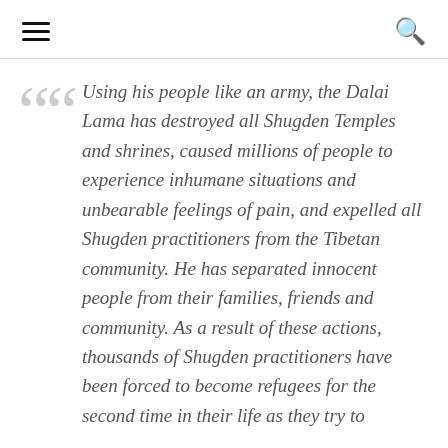≡  🔍
Using his people like an army, the Dalai Lama has destroyed all Shugden Temples and shrines, caused millions of people to experience inhumane situations and unbearable feelings of pain, and expelled all Shugden practitioners from the Tibetan community. He has separated innocent people from their families, friends and community. As a result of these actions, thousands of Shugden practitioners have been forced to become refugees for the second time in their life as they try to